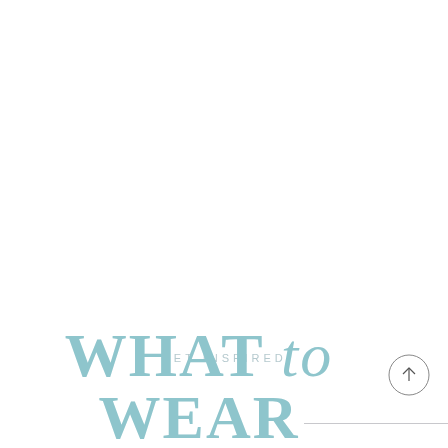[Figure (other): Horizontal decorative divider line centered on the page]
GET INSPIRED
WHAT to WEAR
[Figure (other): Circular scroll-to-top button with upward arrow icon]